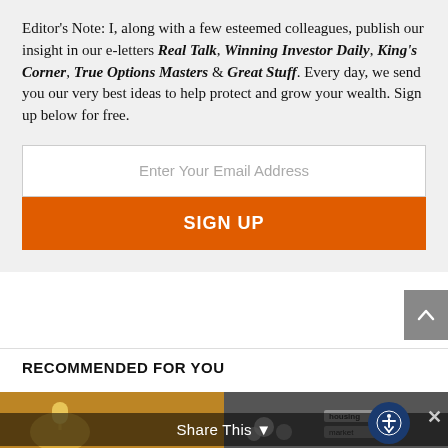Editor's Note: I, along with a few esteemed colleagues, publish our insight in our e-letters Real Talk, Winning Investor Daily, King's Corner, True Options Masters & Great Stuff. Every day, we send you our very best ideas to help protect and grow your wealth. Sign up below for free.
[Figure (infographic): Email signup form with placeholder text 'Enter Your Email Address' and an orange SIGN UP button]
RECOMMENDED FOR YOU
[Figure (photo): Two thumbnail images side by side at the bottom of the page, partially visible. Left image shows a lightbulb with warm tones. Right image shows coins and text related to housing market.]
Share This